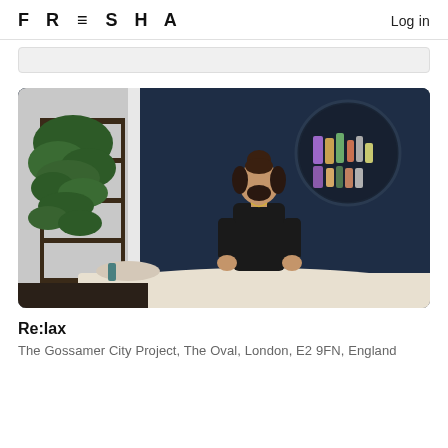FRESHA   Log in
[Figure (photo): A spa therapist dressed in black performing a massage on a client lying under white sheets. The room has a dark navy blue wall, lush green trailing plants on a metal shelf on the left, and a round wall-mounted shelf with beauty products in the upper right corner.]
Re:lax
The Gossamer City Project, The Oval, London, E2 9FN, England